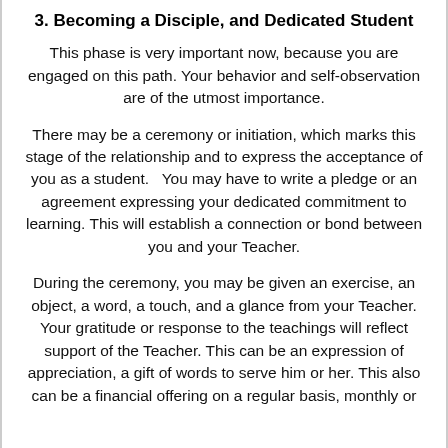3. Becoming a Disciple, and Dedicated Student
This phase is very important now, because you are engaged on this path. Your behavior and self-observation are of the utmost importance.
There may be a ceremony or initiation, which marks this stage of the relationship and to express the acceptance of you as a student.   You may have to write a pledge or an agreement expressing your dedicated commitment to learning. This will establish a connection or bond between you and your Teacher.
During the ceremony, you may be given an exercise, an object, a word, a touch, and a glance from your Teacher. Your gratitude or response to the teachings will reflect support of the Teacher. This can be an expression of appreciation, a gift of words to serve him or her. This also can be a financial offering on a regular basis, monthly or